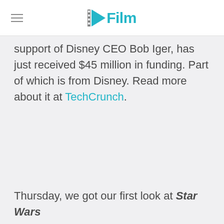/Film
support of Disney CEO Bob Iger, has just received $45 million in funding. Part of which is from Disney. Read more about it at TechCrunch.
Thursday, we got our first look at Star Wars